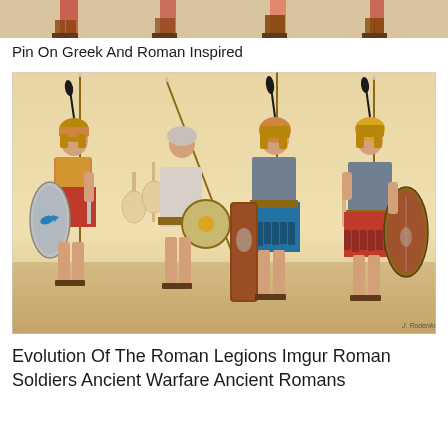[Figure (illustration): Partial top strip of a Greek/Roman inspired illustration showing soldiers' lower bodies and sandals, cropped at the top of the page]
Pin On Greek And Roman Inspired
[Figure (illustration): Illustration showing four Roman/early Roman soldiers in full military attire standing in a sandy/desert battlefield. Each soldier carries shields (oval and rectangular scutum types), spears or swords, and wears helmets with black plumes. Their armor and clothing represent different periods of Roman military evolution. Background shows faint battle scene figures. Artist signature visible in bottom right corner.]
Evolution Of The Roman Legions Imgur Roman Soldiers Ancient Warfare Ancient Romans